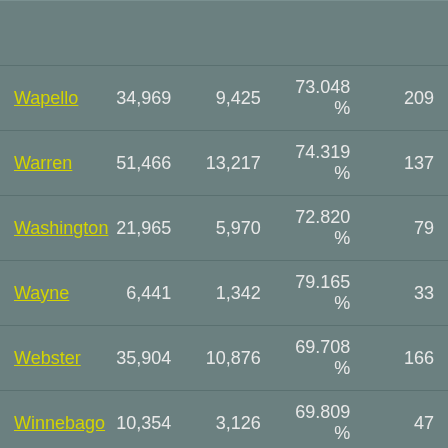| County | Col2 | Col3 | Percentage | Col5 |
| --- | --- | --- | --- | --- |
| Wapello | 34,969 | 9,425 | 73.048 % | 209 |
| Warren | 51,466 | 13,217 | 74.319 % | 137 |
| Washington | 21,965 | 5,970 | 72.820 % | 79 |
| Wayne | 6,441 | 1,342 | 79.165 % | 33 |
| Webster | 35,904 | 10,876 | 69.708 % | 166 |
| Winnebago | 10,354 | 3,126 | 69.809 % | 47 |
| Winneshiek | 19,991 | 4,091 | 79.536 % | 52 |